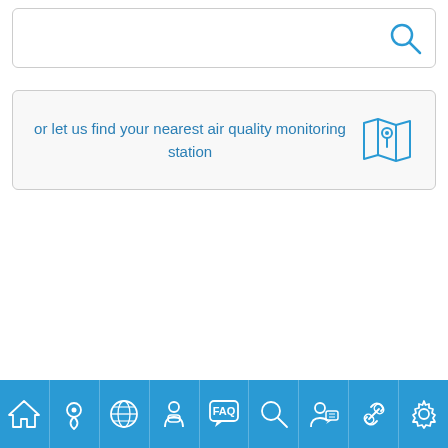[Figure (screenshot): Search bar input box with magnifying glass icon on the right]
or let us find your nearest air quality monitoring station
[Figure (infographic): Bottom navigation bar with 9 icons: home, location pin, globe, person with mask, FAQ speech bubble, search, person with speech bubble, link/chain, settings gear]